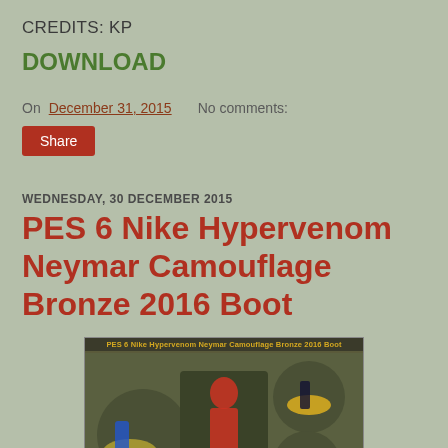CREDITS: KP
DOWNLOAD
On December 31, 2015   No comments:
Share
WEDNESDAY, 30 DECEMBER 2015
PES 6 Nike Hypervenom Neymar Camouflage Bronze 2016 Boot
[Figure (photo): PES 6 Nike Hypervenom Neymar Camouflage Bronze 2016 Boot - screenshot showing football boot from multiple angles on a dark green background with circular insets]